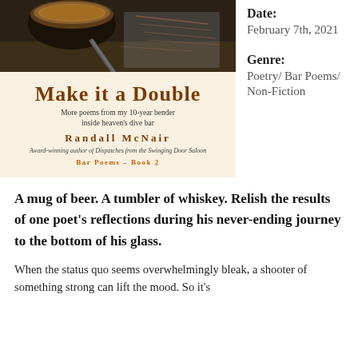[Figure (photo): Photograph of a mug of beer and a fountain pen resting on handwritten text/letter, dark moody tones.]
[Figure (illustration): Book cover for 'Make it a Double – More poems from my 10-year bender inside heaven's dive bar' by Randall McNair, Bar Poems Book 2, on a cream background with brown lettering.]
Date: February 7th, 2021
Genre: Poetry/ Bar Poems/ Non-Fiction
A mug of beer. A tumbler of whiskey. Relish the results of one poet's reflections during his never-ending journey to the bottom of his glass.
When the status quo seems overwhelmingly bleak, a shooter of something strong can lift the mood. So it's